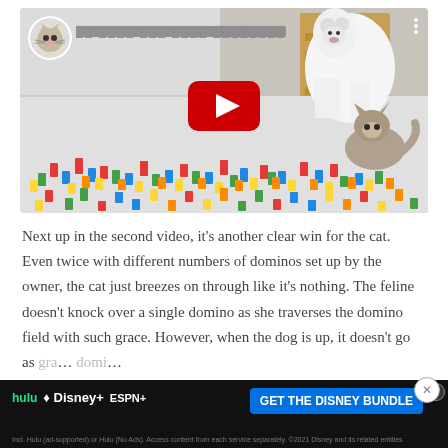[Figure (screenshot): YouTube video thumbnail showing a cat and dog with colorful domino pieces on the floor, with a red YouTube play button in the center. Channel avatar visible in top-left with blurred Korean channel name.]
Next up in the second video, it's another clear win for the cat. Even twice with different numbers of dominos set up by the owner, the cat just breezes on through like it's nothing. The feline doesn't knock over a single domino as she traverses the domino field with such grace. However, when the dog is up, it doesn't go as gra… domi…
[Figure (screenshot): Advertisement banner at bottom: Disney Bundle ad with Hulu, Disney+, ESPN+ logos and 'GET THE DISNEY BUNDLE' call-to-action button on dark background. Fine print: 'Incl. Hulu (ad-supported) or Hulu (No Ads). Access content from each service separately. ©2021 Disney and its related entities']